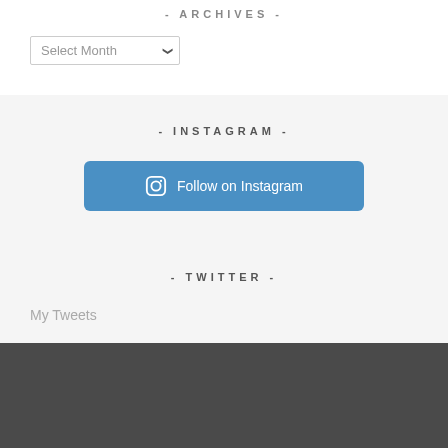- ARCHIVES -
Select Month
- INSTAGRAM -
Follow on Instagram
- TWITTER -
My Tweets